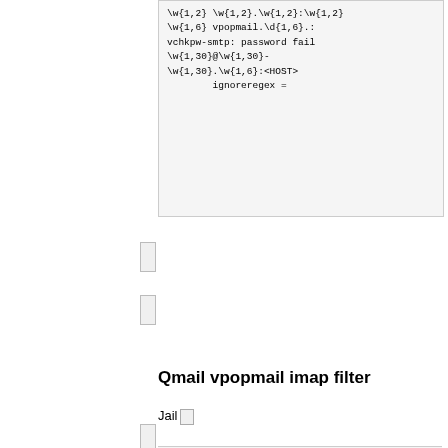[Figure (screenshot): Code block showing regex and ignoreregex configuration: \w{1,2} \w{1,2}.\w{1,2}:\w{1,2} \w{1,6} vpopmail.\d{1,6}.: vchkpw-smtp: password fail \w{1,30}@\w{1,30}-\w{1,30}.\w{1,6}:<HOST>    ignoreregex =]
Qmail vpopmail imap filter
Jail
[Figure (screenshot): Code block showing jail configuration: [qmail-vpopmail-imap-pw-fail] enabled = true filter = qmail-vpopmail-imap-password.conf action = iptables[name=IMAP, port="143,585,993", protocol=tcp] logpath = /var/log/imap4/current maxretry = 5 bantime = 864000 findtime = 3600]